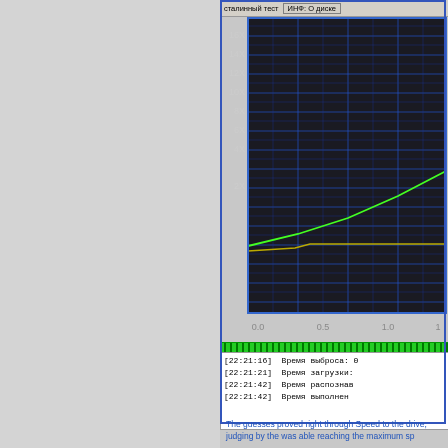[Figure (continuous-plot): CD/DVD burning speed test chart showing speed (X) vs time (GB). Y-axis labeled 2X through 16X, X-axis from 0.0 to 1.0+. Dark background with blue grid, green rising line and yellow/orange flat line. Russian software interface with timestamp log entries at bottom.]
The guesses proved right through Speed to the drive, judging by the was able reaching the maximum sp